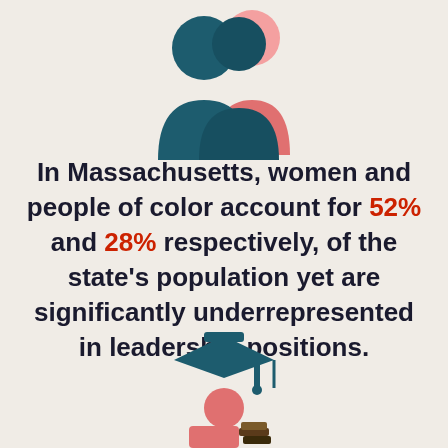[Figure (illustration): Two silhouetted figures representing people — one dark teal and one pink/rose, suggesting diversity of gender and race.]
In Massachusetts, women and people of color account for 52% and 28% respectively, of the state's population yet are significantly underrepresented in leadership positions.
[Figure (illustration): A graduation cap icon with a partial figure holding books, in dark teal and rose colors, representing education and leadership.]